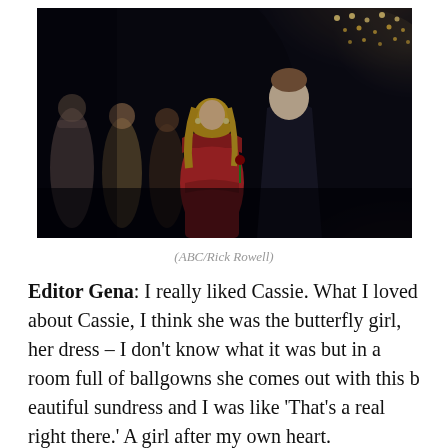[Figure (photo): Scene from The Bachelor TV show: a woman in a red off-shoulder dress holding a rose stands facing a man in a dark suit, with other women in formal attire visible in the background in a dimly lit setting with warm lights.]
(ABC/Rick Rowell)
Editor Gena: I really liked Cassie. What I loved about Cassie, I think she was the butterfly girl, her dress – I don't know what it was but in a room full of ballgowns she comes out with this beautiful sundress and I was like 'That's a real right there.' A girl after my own heart.